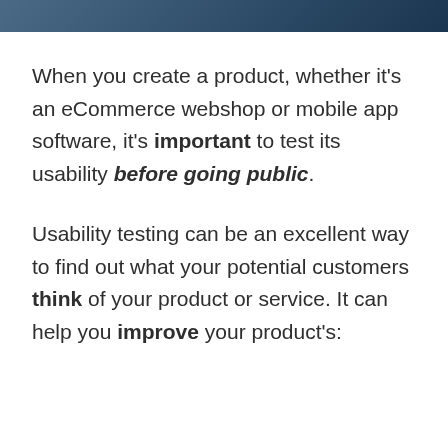[Figure (other): Dark blue/teal decorative header bar across the top of the page]
When you create a product, whether it's an eCommerce webshop or mobile app software, it's important to test its usability before going public.
Usability testing can be an excellent way to find out what your potential customers think of your product or service. It can help you improve your product's: